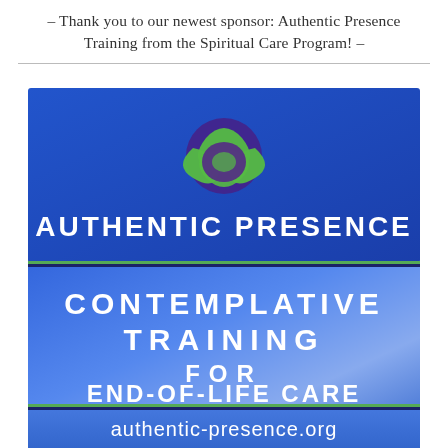- Thank you to our newest sponsor: Authentic Presence Training from the Spiritual Care Program! -
[Figure (logo): Authentic Presence logo banner with Celtic knot symbol in green and purple. Text reads AUTHENTIC PRESENCE in white on blue background, then green divider line, then CONTEMPLATIVE TRAINING FOR END-OF-LIFE CARE in white on blue gradient, then authentic-presence.org at bottom on lighter blue.]